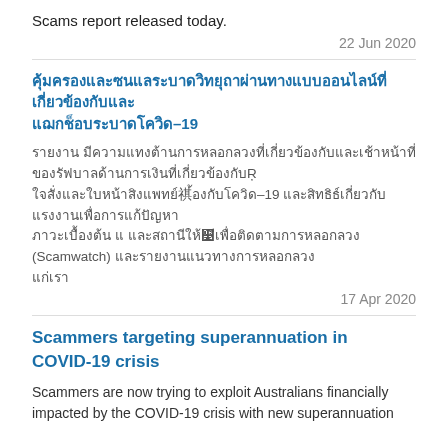Scams report released today.
22 Jun 2020
[Thai script title about COVID-19 scams]
[Thai body text mentioning COVID-19 and Scamwatch]
17 Apr 2020
Scammers targeting superannuation in COVID-19 crisis
Scammers are now trying to exploit Australians financially impacted by the COVID-19 crisis with new superannuation